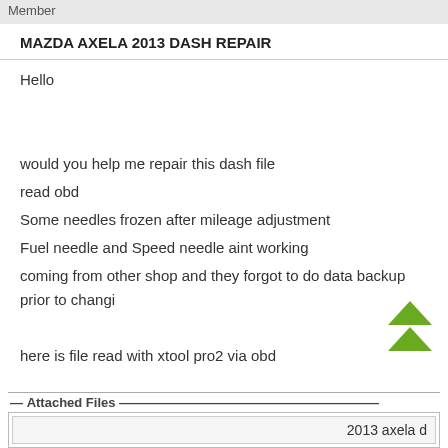Member
MAZDA AXELA 2013 DASH REPAIR
Hello

would you help me repair this dash file
read obd
Some needles frozen after mileage adjustment
Fuel needle and Speed needle aint working
coming from other shop and they forgot to do data backup prior to changi...

here is file read with xtool pro2 via obd

BR
I pulled out dash and read eeprom 93c66
here is eeprom file read externally.....
Attached Files
2013 axela d...